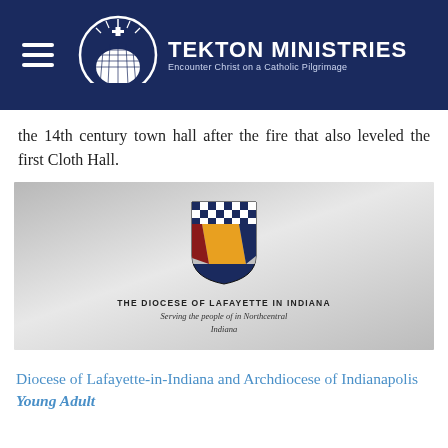TEKTON MINISTRIES — Encounter Christ on a Catholic Pilgrimage
the 14th century town hall after the fire that also leveled the first Cloth Hall.
[Figure (logo): The Diocese of Lafayette in Indiana logo with heraldic shield. Text below: THE DIOCESE OF LAFAYETTE IN INDIANA — Serving the people of in Northcentral Indiana]
Diocese of Lafayette-in-Indiana and Archdiocese of Indianapolis Young Adult